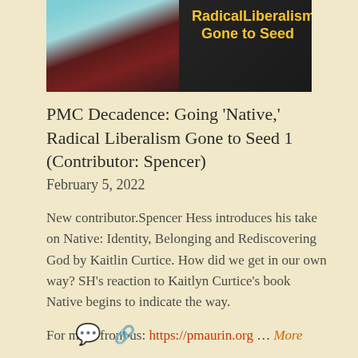[Figure (illustration): Book cover illustration for 'Radical Liberalism Gone to Seed' showing an illustrated character on the left side and yellow title text on a dark background on the right side.]
PMC Decadence: Going ‘Native,’ Radical Liberalism Gone to Seed 1 (Contributor: Spencer)
February 5, 2022
New contributor.Spencer Hess introduces his take on Native: Identity, Belonging and Rediscovering God by Kaitlin Curtice. How did we get in our own way? SH’s reaction to Kaitlyn Curtice’s book Native begins to indicate the way.
For more from us: https://pmaurin.org … More